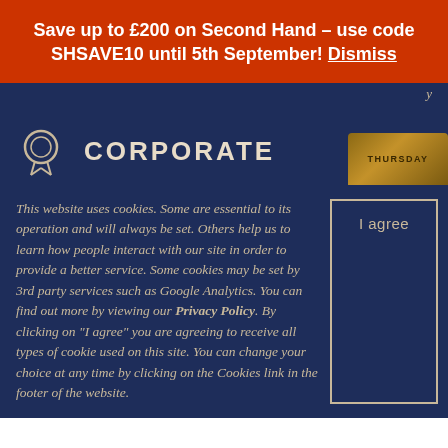Save up to £200 on Second Hand – use code SHSAVE10 until 5th September! Dismiss
This website uses cookies. Some are essential to its operation and will always be set. Others help us to learn how people interact with our site in order to provide a better service. Some cookies may be set by 3rd party services such as Google Analytics. You can find out more by viewing our Privacy Policy. By clicking on "I agree" you are agreeing to receive all types of cookie used on this site. You can change your choice at any time by clicking on the Cookies link in the footer of the website.
I agree
CORPORATE